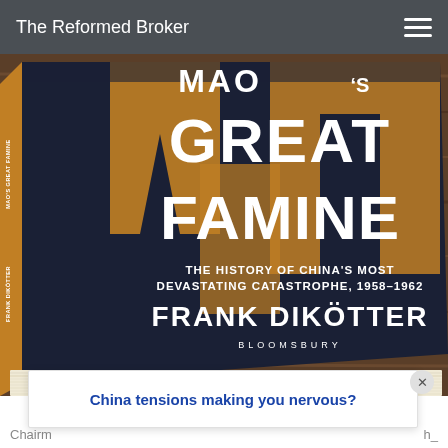The Reformed Broker
[Figure (photo): Book cover photo of 'Mao's Great Famine: The History of China's Most Devastating Catastrophe, 1958-1962' by Frank Dikötter, published by Bloomsbury. The book is sitting on a wooden surface, showing its front cover with large white bold text 'GREAT FAMINE' and orange-gold decorative text elements on a dark navy background.]
China tensions making you nervous?
Chairm